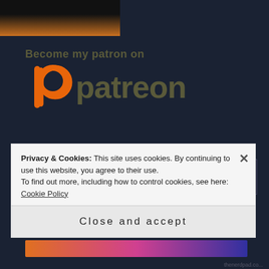[Figure (screenshot): Thumbnail image with dark background and orange gradient at bottom]
[Figure (logo): Patreon logo with text 'Become my patron on' above, orange circular P icon and 'patreon' wordmark in olive/dark gold color]
Search ...
Privacy & Cookies: This site uses cookies. By continuing to use this website, you agree to their use.
To find out more, including how to control cookies, see here: Cookie Policy
Close and accept